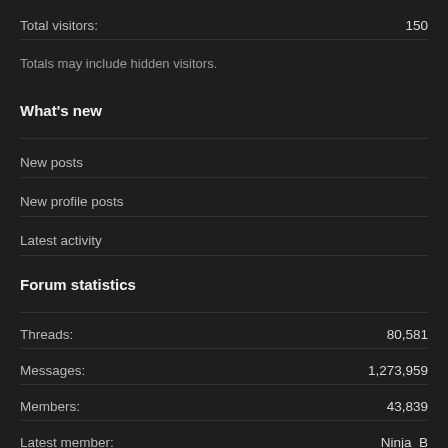Total visitors: 150
Totals may include hidden visitors.
What's new
New posts
New profile posts
Latest activity
Forum statistics
Threads: 80,581
Messages: 1,273,959
Members: 43,839
Latest member: Ninja_B